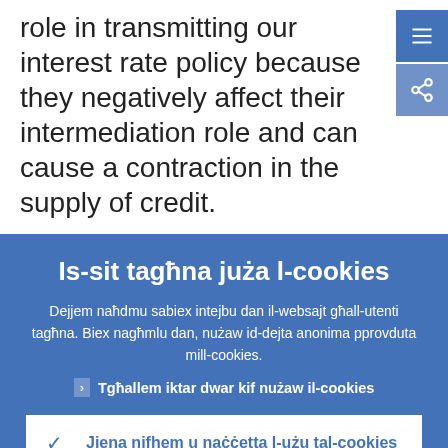role in transmitting our interest rate policy because they negatively affect their intermediation role and can cause a contraction in the supply of credit.
Is-sit tagħna juża l-cookies
Dejjem naħdmu sabiex intejbu dan il-websajt għall-utenti tagħna. Biex nagħmlu dan, nużaw id-dejta anonima pprovduta mill-cookies.
Tgħallem iktar dwar kif nużaw il-cookies
Jiena nifhem u naċċetta l-użu tal-cookies
Jiena ma naċċettax l-użu tal-cookies